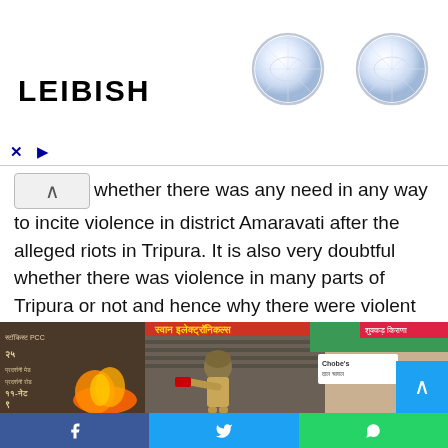[Figure (photo): LEIBISH jewelry advertisement banner showing two round diamond stud earrings on white background with brand name LEIBISH on the left]
whether there was any need in any way to incite violence in district Amaravati after the alleged riots in Tripura. It is also very doubtful whether there was violence in many parts of Tripura or not and hence why there were violent activities in district Amaravati.
[Figure (photo): A police officer in khaki uniform and helmet using a fire extinguisher on a burning shop. The shop has Hindi signboards reading 'Swara Electronics' and other text. A teal colored awning and colorful market shops are visible in the background.]
Facebook share | Twitter share | WhatsApp share